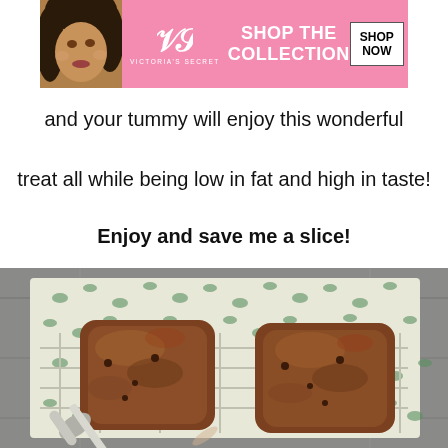[Figure (photo): Victoria's Secret advertisement banner showing a woman's face on the left, VS logo with 'Victoria's Secret' text in center-left, 'SHOP THE COLLECTION' text in center, and a 'SHOP NOW' button on the right, pink background]
and your tummy will enjoy this wonderful
treat all while being low in fat and high in taste!
Enjoy and save me a slice!
[Figure (photo): Overhead photo of two small baked banana bread loaves on a decorative green and white patterned cloth/napkin placed on a metal wire cooling rack on a gray wooden surface, with a silver butter knife beside them]